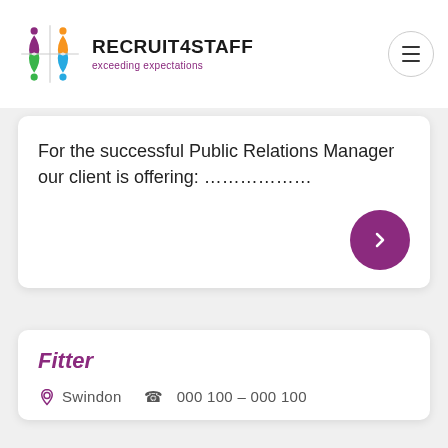[Figure (logo): Recruit4Staff logo with colorful star/people graphic and text 'RECRUIT4STAFF exceeding expectations']
For the successful Public Relations Manager our client is offering: ………………
Fitter
Swindon … 000 100 – 000 100